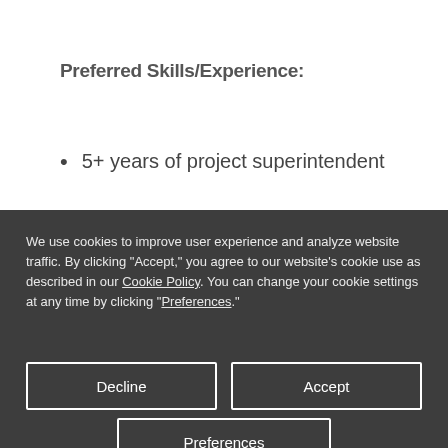Preferred Skills/Experience:
5+ years of project superintendent
We use cookies to improve user experience and analyze website traffic. By clicking “Accept,” you agree to our website’s cookie use as described in our Cookie Policy. You can change your cookie settings at any time by clicking “Preferences.”
Decline
Accept
Preferences